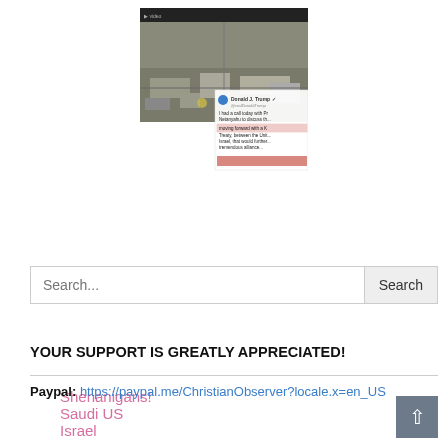[Figure (screenshot): Screenshot of a video or webpage showing an aerial/overhead industrial scene overlaid with a Donald J. Trump tweet excerpt reading 'I had a call today with Pr... Netanyahu to discuss th... moving forward with a... Treaty, between the Unit... Israel, that would further... tremendous alliance...' with some text highlighted in red box]
Shenanigans! Saudi US Israel
Search...
YOUR SUPPORT IS GREATLY APPRECIATED!
Paypal: https://paypal.me/ChristianObserver?locale.x=en_US